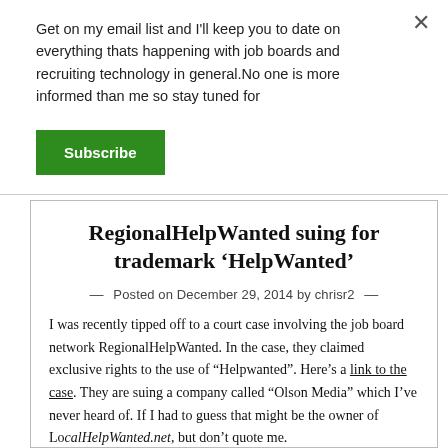Get on my email list and I'll keep you to date on everything thats happening with job boards and recruiting technology in general.No one is more informed than me so stay tuned for
Subscribe
RegionalHelpWanted suing for trademark 'HelpWanted'
— Posted on December 29, 2014 by chrisr2 —
I was recently tipped off to a court case involving the job board network RegionalHelpWanted. In the case, they claimed exclusive rights to the use of "Helpwanted". Here's a link to the case. They are suing a company called "Olson Media" which I've never heard of. If I had to guess that might be the owner of LocalHelpWanted.net, but don't quote me.